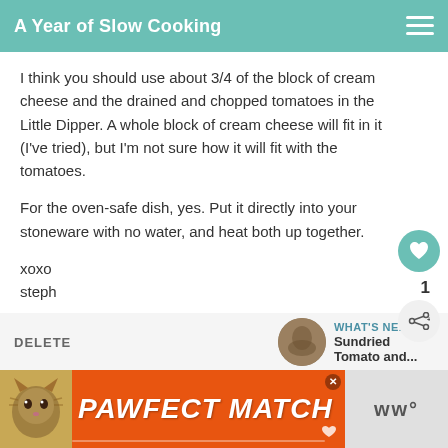A Year of Slow Cooking
I think you should use about 3/4 of the block of cream cheese and the drained and chopped tomatoes in the Little Dipper. A whole block of cream cheese will fit in it (I've tried), but I'm not sure how it will fit with the tomatoes.
For the oven-safe dish, yes. Put it directly into your stoneware with no water, and heat both up together.
xoxo
steph
DELETE
WHAT'S NEXT → Sundried Tomato and...
[Figure (photo): Advertisement banner: PAWFECT MATCH with cat photo on orange background]